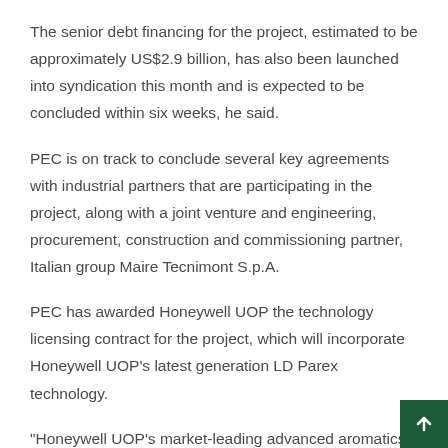The senior debt financing for the project, estimated to be approximately US$2.9 billion, has also been launched into syndication this month and is expected to be concluded within six weeks, he said.
PEC is on track to conclude several key agreements with industrial partners that are participating in the project, along with a joint venture and engineering, procurement, construction and commissioning partner, Italian group Maire Tecnimont S.p.A.
PEC has awarded Honeywell UOP the technology licensing contract for the project, which will incorporate Honeywell UOP's latest generation LD Parex technology.
"Honeywell UOP's market-leading advanced aromatics processing technologies will result in reduced energy consumption, maximised aromatics production, lowered